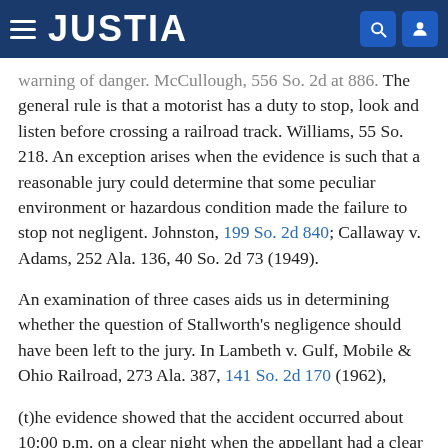JUSTIA
warning of danger. McCullough, 556 So. 2d at 886. The general rule is that a motorist has a duty to stop, look and listen before crossing a railroad track. Williams, 55 So. 218. An exception arises when the evidence is such that a reasonable jury could determine that some peculiar environment or hazardous condition made the failure to stop not negligent. Johnston, 199 So. 2d 840; Callaway v. Adams, 252 Ala. 136, 40 So. 2d 73 (1949).
An examination of three cases aids us in determining whether the question of Stallworth's negligence should have been left to the jury. In Lambeth v. Gulf, Mobile & Ohio Railroad, 273 Ala. 387, 141 So. 2d 170 (1962),
(t)he evidence showed that the accident occurred about 10:00 p.m. on a clear night when the appellant had a clear view of the crossing several hundred yards before reaching it; there was no fog or smoke or anything to